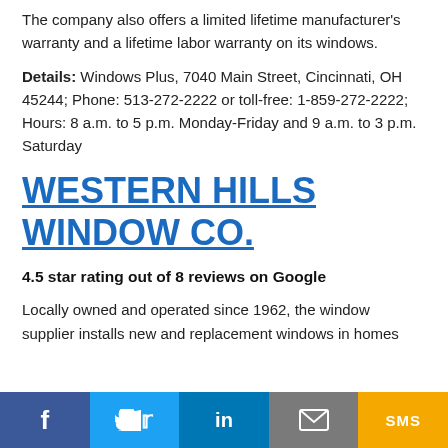The company also offers a limited lifetime manufacturer's warranty and a lifetime labor warranty on its windows.
Details: Windows Plus, 7040 Main Street, Cincinnati, OH 45244; Phone: 513-272-2222 or toll-free: 1-859-272-2222; Hours: 8 a.m. to 5 p.m. Monday-Friday and 9 a.m. to 3 p.m. Saturday
WESTERN HILLS WINDOW CO.
4.5 star rating out of 8 reviews on Google
Locally owned and operated since 1962, the window supplier installs new and replacement windows in homes